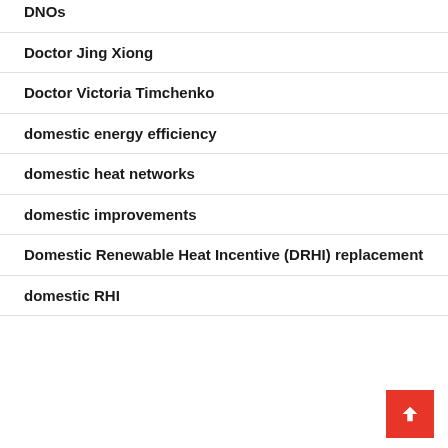DNOs
Doctor Jing Xiong
Doctor Victoria Timchenko
domestic energy efficiency
domestic heat networks
domestic improvements
Domestic Renewable Heat Incentive (DRHI) replacement
domestic RHI